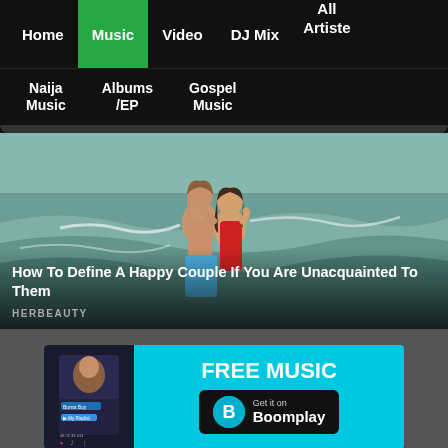Home | Music | Video | DJ Mix | All Artiste | Naija Music | Albums/EP | Gospel Music
[Figure (photo): A couple kissing on a beach in ocean waves, man wearing blue shorts, woman in red swimsuit]
How To Define A Happy Couple If You Are Unacquainted To Them
HERBEAUTY
[Figure (infographic): Boomplay music app advertisement banner. Shows a phone with Burna Boy profile, text FREE MUSIC and Get it on Boomplay button on cyan background]